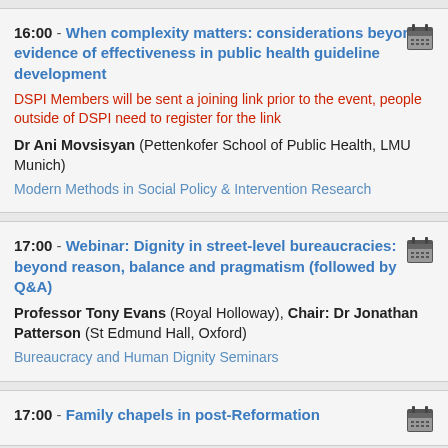16:00 - When complexity matters: considerations beyond evidence of effectiveness in public health guideline development
DSPI Members will be sent a joining link prior to the event, people outside of DSPI need to register for the link
Dr Ani Movsisyan (Pettenkofer School of Public Health, LMU Munich)
Modern Methods in Social Policy & Intervention Research
17:00 - Webinar: Dignity in street-level bureaucracies: beyond reason, balance and pragmatism (followed by Q&A)
Professor Tony Evans (Royal Holloway), Chair: Dr Jonathan Patterson (St Edmund Hall, Oxford)
Bureaucracy and Human Dignity Seminars
17:00 - Family chapels in post-Reformation